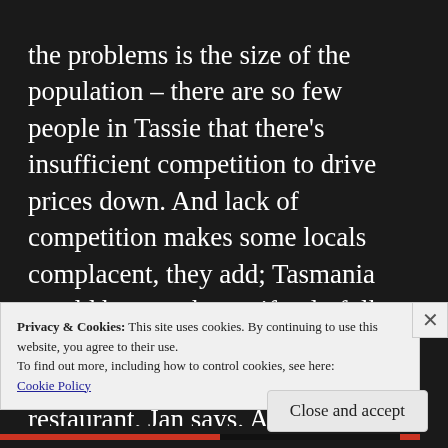the problems is the size of the population – there are so few people in Tassie that there's insufficient competition to drive prices down. And lack of competition makes some locals complacent, they add; Tasmania would be even better if only folk tried a bit harder. What Launceston really needs is a decent pizza restaurant, Jan says. Anyone with a bit of skill and imagination could clean up. But it won't be them; the French House is their fulfilment, they're going nowhere.
Privacy & Cookies: This site uses cookies. By continuing to use this website, you agree to their use.
To find out more, including how to control cookies, see here:
Cookie Policy
Close and accept